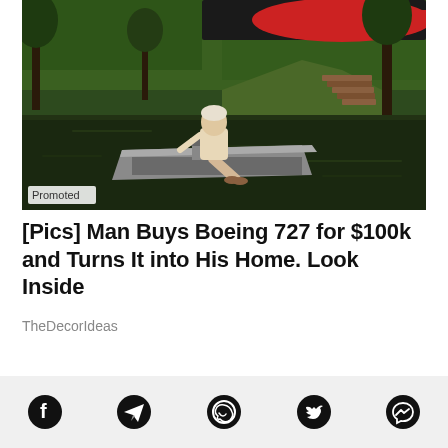[Figure (photo): Man sitting in a small boat on dark water near a wooded riverbank with steps visible; a large aircraft tail is partially visible in the background. Label 'Promoted' in bottom-left corner.]
[Pics] Man Buys Boeing 727 for $100k and Turns It into His Home. Look Inside
TheDecorIdeas
[Figure (infographic): Social sharing icons row: Facebook, Telegram, WhatsApp, Twitter, Messenger]